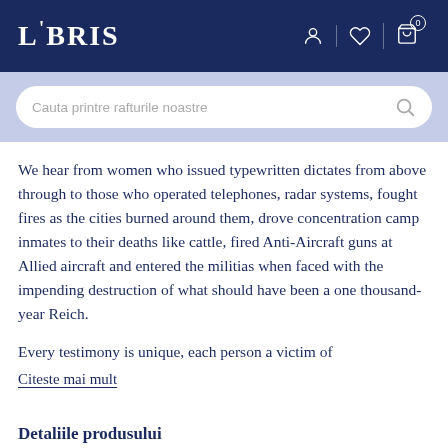LIBRIS
We hear from women who issued typewritten dictates from above through to those who operated telephones, radar systems, fought fires as the cities burned around them, drove concentration camp inmates to their deaths like cattle, fired Anti-Aircraft guns at Allied aircraft and entered the militias when faced with the impending destruction of what should have been a one thousand-year Reich.
Every testimony is unique, each person a victim of
Citeste mai mult
Detaliile produsului